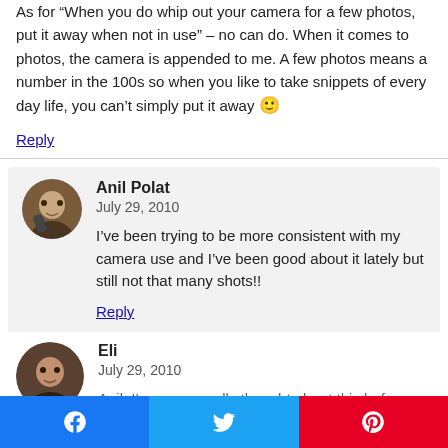As for “When you do whip out your camera for a few photos, put it away when not in use” – no can do. When it comes to photos, the camera is appended to me. A few photos means a number in the 100s so when you like to take snippets of every day life, you can’t simply put it away 🙂
Reply
Anil Polat
July 29, 2010
I’ve been trying to be more consistent with my camera use and I’ve been good about it lately but still not that many shots!!
Reply
Eli
July 29, 2010
Anil, I’ve never really thought about this before, but it really makes sense. Trying to blend in to a new culture...